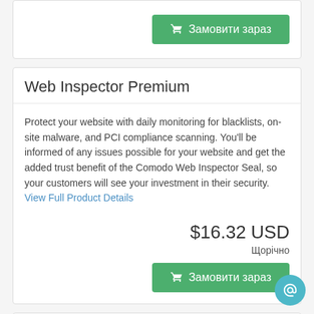[Figure (other): Button stub at top: green 'Замовити зараз' button with cart icon]
Web Inspector Premium
Protect your website with daily monitoring for blacklists, on-site malware, and PCI compliance scanning. You'll be informed of any issues possible for your website and get the added trust benefit of the Comodo Web Inspector Seal, so your customers will see your investment in their security. View Full Product Details
$16.32 USD
Щорічно
[Figure (other): Green 'Замовити зараз' button with cart icon]
Web Inspector Starter
Protect your website with daily monitoring for blacklists, on-site